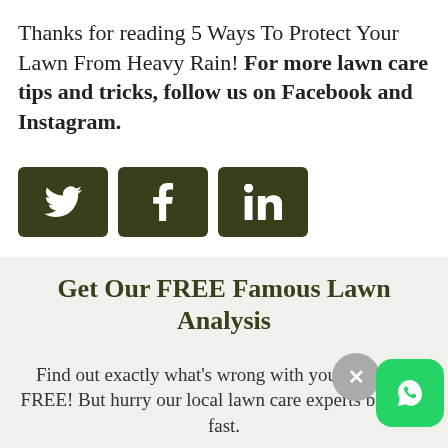Thanks for reading 5 Ways To Protect Your Lawn From Heavy Rain! For more lawn care tips and tricks, follow us on Facebook and Instagram.
[Figure (infographic): Three dark olive-green social media share buttons side by side: Twitter (bird icon), Facebook (f icon), LinkedIn (in icon)]
Get Our FREE Famous Lawn Analysis
Find out exactly what's wrong with your lawn for FREE! But hurry our local lawn care experts book up fast.